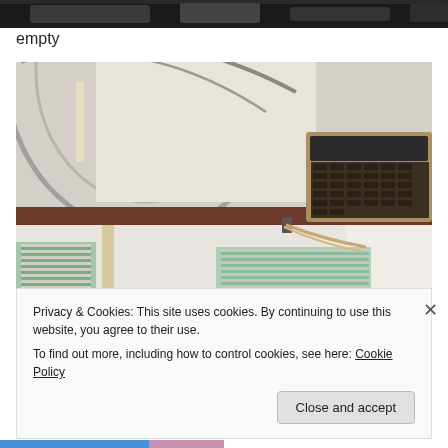[Figure (photo): Partial top image strip showing a dark photograph at the very top of the page]
empty
[Figure (photo): Interior of a vintage diner or railway car showing arched ceiling with metal trim, fluorescent lights, wood beam, jukebox on wall, windows with blinds]
Privacy & Cookies: This site uses cookies. By continuing to use this website, you agree to their use.
To find out more, including how to control cookies, see here: Cookie Policy
Close and accept